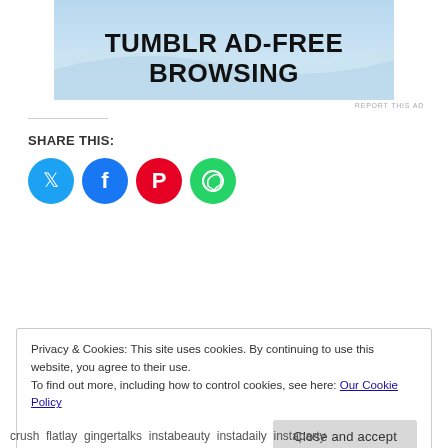[Figure (illustration): Tumblr Ad-Free Browsing banner with blue sky and wave graphic, bold black text reading TUMBLR AD-FREE BROWSING]
REPORT THIS AD
SHARE THIS:
[Figure (infographic): Four social media share icon circles: Twitter (blue), Facebook (blue), Pinterest (red), WhatsApp (green)]
Privacy & Cookies: This site uses cookies. By continuing to use this website, you agree to their use.
To find out more, including how to control cookies, see here: Our Cookie Policy
Close and accept
crush  flatlay  gingertalks  instabeauty  instadaily  instaparty